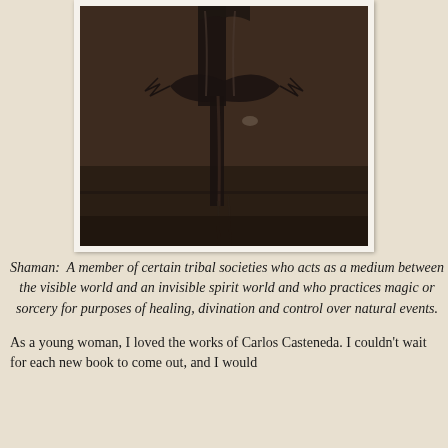[Figure (photo): A dark, abstract photograph or artwork depicting a bird-like or shamanic figure, rendered in dark browns and blacks, appearing to show a stylized eagle or spirit figure against a dark brown background. The image has a Polaroid-style white border/mat.]
Shaman:  A member of certain tribal societies who acts as a medium between the visible world and an invisible spirit world and who practices magic or sorcery for purposes of healing, divination and control over natural events.
As a young woman, I loved the works of Carlos Casteneda. I couldn't wait for each new book to come out, and I would